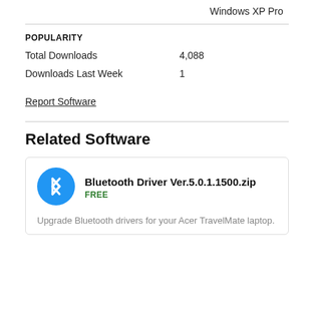Windows XP Pro
POPULARITY
Total Downloads	4,088
Downloads Last Week	1
Report Software
Related Software
Bluetooth Driver Ver.5.0.1.1500.zip
FREE
Upgrade Bluetooth drivers for your Acer TravelMate laptop.